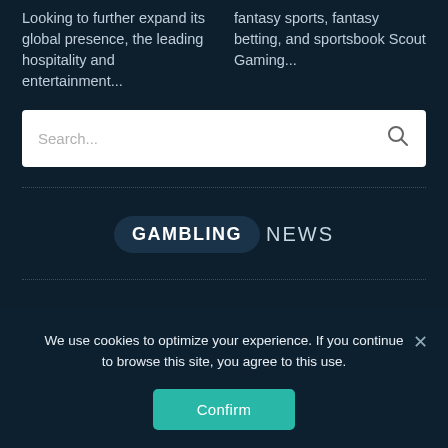Looking to further expand its global presence, the leading hospitality and entertainment...
fantasy sports, fantasy betting, and sportsbook Scout Gaming...
[Figure (screenshot): Search bar input field with magnifying glass icon on white background]
[Figure (logo): Gambling News logo - GAMBLING in rounded dark rectangle, NEWS in light text]
ABOUT US
CONTACT US
PRESS KIT
DISCLAIMER
TERMS AND CONDITIONS
PRIVACY POLICY
We use cookies to optimize your experience. If you continue to browse this site, you agree to this use.
Confirm